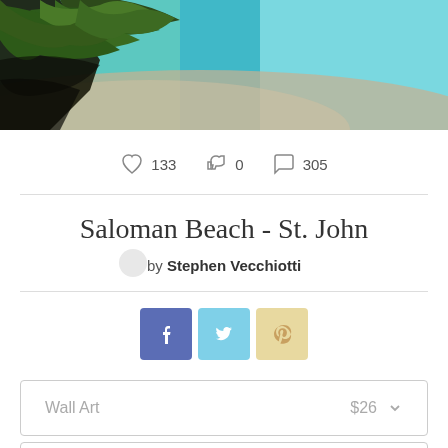[Figure (photo): Tropical beach photo showing palm fronds in the foreground, white sand, and turquoise water in the background]
♡ 133  👍 0  💬 305
Saloman Beach - St. John
by Stephen Vecchiotti
[Figure (infographic): Social sharing buttons: Facebook (blue), Twitter (light blue), Pinterest (tan/yellow)]
Wall Art $26
Stationery $9